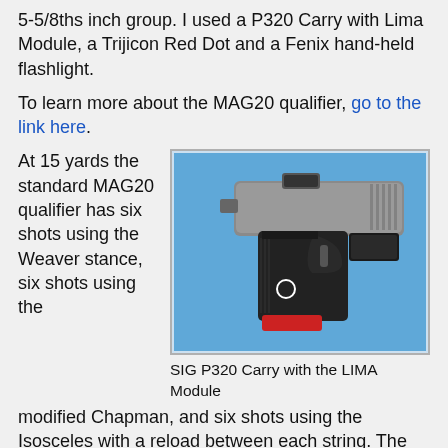5-5/8ths inch group. I used a P320 Carry with Lima Module, a Trijicon Red Dot and a Fenix hand-held flashlight.
To learn more about the MAG20 qualifier, go to the link here.
At 15 yards the standard MAG20 qualifier has six shots using the Weaver stance, six shots using the modified Chapman, and six shots using the Isosceles with a reload between each string. The only
[Figure (photo): SIG P320 Carry pistol with the LIMA Module, shown on a blue background. The pistol has a red element at the base of the grip and a circular white marking on the grip area.]
SIG P320 Carry with the LIMA Module